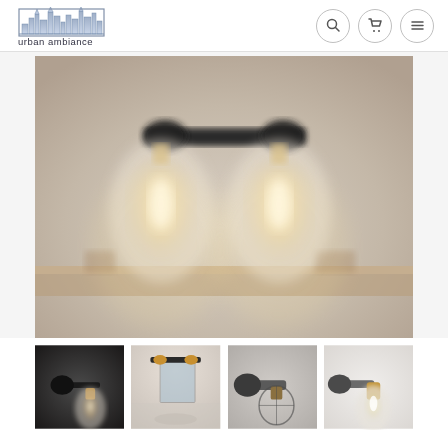urban ambiance
[Figure (photo): Close-up blurred photo of a two-bulb industrial wall sconce/vanity light mounted on a wall, with exposed Edison-style bulbs in clear mason jar-style globes on a black metal bracket. Warm glowing light.]
[Figure (photo): Thumbnail 1: Single wall sconce with black arm and exposed bulb, dark background.]
[Figure (photo): Thumbnail 2: Bathroom vanity with two-light fixture above mirror, showing full bathroom context.]
[Figure (photo): Thumbnail 3: Close-up of industrial wall sconce with metal cage on light background.]
[Figure (photo): Thumbnail 4: Single wall sconce detail with brass socket and clear bulb on white background.]